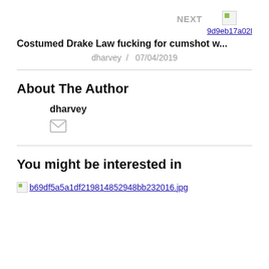NEXT  9d9eb17a02l
Costumed Drake Law fucking for cumshot w...
dharvey  /  07/04/2019
About The Author
dharvey
[Figure (illustration): Envelope/email icon]
You might be interested in
[Figure (illustration): Broken image link: b69df5a5a1df219814852948bb232016.jpg]